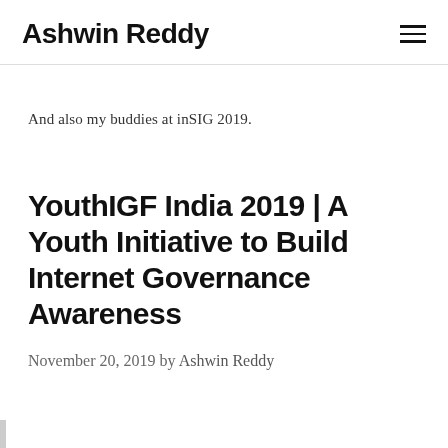Ashwin Reddy
And also my buddies at inSIG 2019.
YouthIGF India 2019 | A Youth Initiative to Build Internet Governance Awareness
November 20, 2019 by Ashwin Reddy